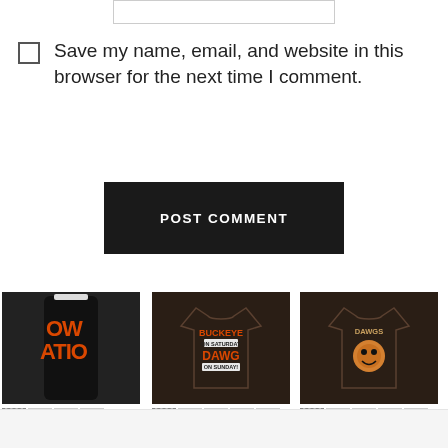Save my name, email, and website in this browser for the next time I comment.
POST COMMENT
[Figure (screenshot): Product grid showing three Browns/Dawgs merchandise items: Browns Nation Tumbler, Buckeye Dawgs T-Shirt, and Dangerous Dawgs T-Shirt with thumbnail variants and prices]
Browns Nation Tumbler
$32.99
Buckeye Dawgs T-Shirt
$29.00
Dangerous Dawgs T-Shirt